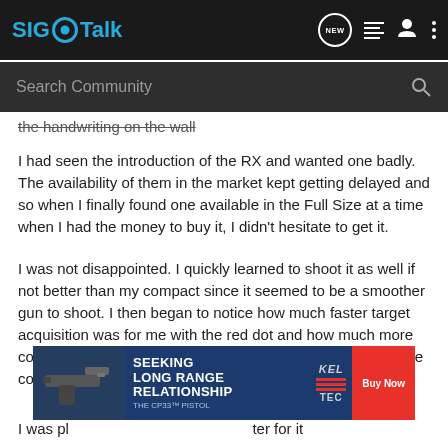SIG Talk
the handwriting on the wall
I had seen the introduction of the RX and wanted one badly. The availability of them in the market kept getting delayed and so when I finally found one available in the Full Size at a time when I had the money to buy it, I didn't hesitate to get it.
I was not disappointed. I quickly learned to shoot it as well if not better than my compact since it seemed to be a smoother gun to shoot. I then began to notice how much faster target acquisition was for me with the red dot and how much more consistent I became with my groupings being more and more concentrated.
[Figure (infographic): Kel-Tec advertisement banner showing a handgun and text: SEEKING LONG RANGE RELATIONSHIP, KEL TEC, Buy Now, THE CP33 PISTOL]
I was pl... ter for it
that I wa... sized